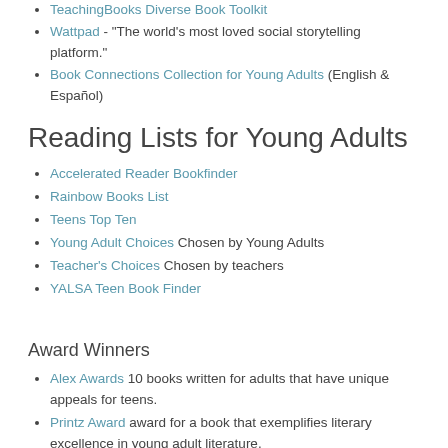TeachingBooks Diverse Book Toolkit
Wattpad - "The world's most loved social storytelling platform."
Book Connections Collection for Young Adults (English & Español)
Reading Lists for Young Adults
Accelerated Reader Bookfinder
Rainbow Books List
Teens Top Ten
Young Adult Choices Chosen by Young Adults
Teacher's Choices Chosen by teachers
YALSA Teen Book Finder
Award Winners
Alex Awards 10 books written for adults that have unique appeals for teens.
Printz Award award for a book that exemplifies literary excellence in young adult literature.
American Indian Youth Literature Award from the American Indian Library Association